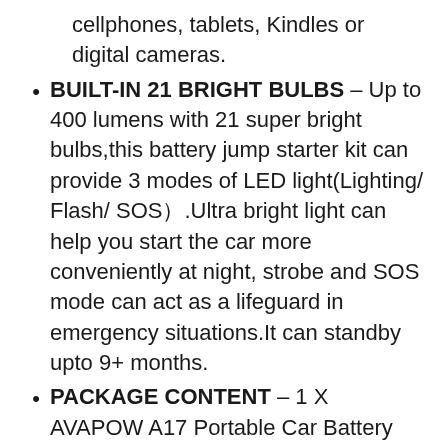cellphones, tablets, Kindles or digital cameras.
BUILT-IN 21 BRIGHT BULBS – Up to 400 lumens with 21 super bright bulbs,this battery jump starter kit can provide 3 modes of LED light(Lighting/ Flash/ SOS）.Ultra bright light can help you start the car more conveniently at night, strobe and SOS mode can act as a lifeguard in emergency situations.It can standby upto 9+ months.
PACKAGE CONTENT – 1 X AVAPOW A17 Portable Car Battery Booster,1 X smart jumper cables,1 X USB Type-C Charging Cable,1 X High-value EVA Protection Case,1 X friendly User manual,and professional & 24-hour online after sales team for your any